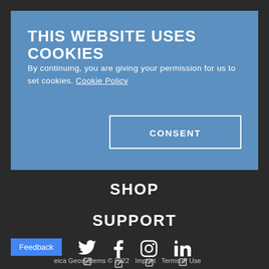THIS WEBSITE USES COOKIES
By continuing, you are giving your permission for us to set cookies. Cookie Policy
CONSENT
SHOP
SUPPORT
[Figure (infographic): Social media icons row: Twitter, Facebook, Instagram, LinkedIn, each with an external link icon below]
Feedback
eica Geosystems © 2022   Imprint   Terms of Use